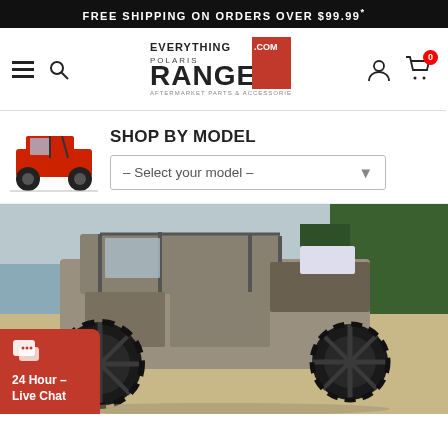FREE SHIPPING ON ORDERS OVER $99.99*
[Figure (logo): Everything Polaris Ranger .com aftermarket parts & accessories logo with navigation bar including hamburger menu, search icon, user icon, and cart icon with 0 badge]
[Figure (illustration): Red Polaris Ranger UTV thumbnail image]
SHOP BY MODEL
– Select your model –
[Figure (photo): Polaris Ranger XP UTV with large off-road mud tires parked on sandy ground near water and trees]